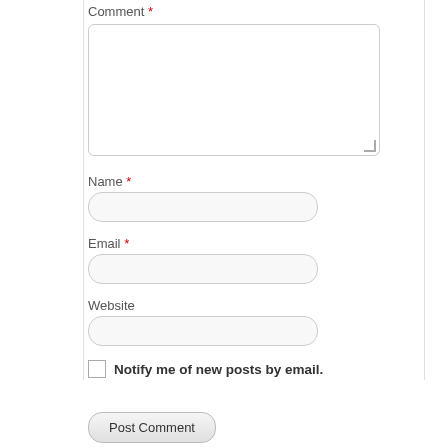Comment *
Name *
Email *
Website
Notify me of new posts by email.
Post Comment
This site uses Akismet to reduce spam. Learn how your comment data is processed.